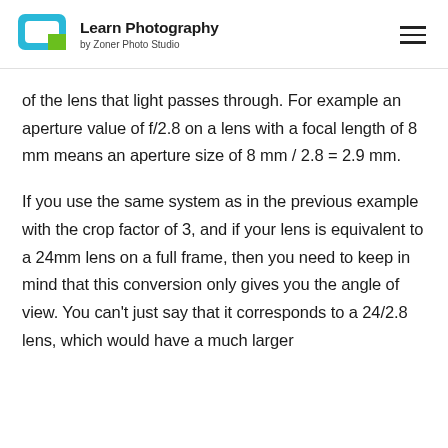Learn Photography by Zoner Photo Studio
of the lens that light passes through. For example an aperture value of f/2.8 on a lens with a focal length of 8 mm means an aperture size of 8 mm / 2.8 = 2.9 mm.
If you use the same system as in the previous example with the crop factor of 3, and if your lens is equivalent to a 24mm lens on a full frame, then you need to keep in mind that this conversion only gives you the angle of view. You can't just say that it corresponds to a 24/2.8 lens, which would have a much larger